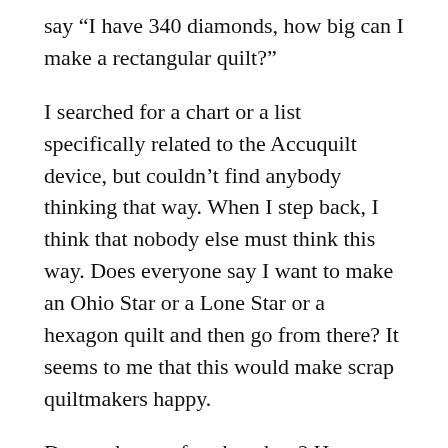say “I have 340 diamonds, how big can I make a rectangular quilt?”
I searched for a chart or a list specifically related to the Accuquilt device, but couldn’t find anybody thinking that way. When I step back, I think that nobody else must think this way. Does everyone say I want to make an Ohio Star or a Lone Star or a hexagon quilt and then go from there? It seems to me that this would make scrap quiltmakers happy.
Do you know of such a chart? Have you started one?
Media